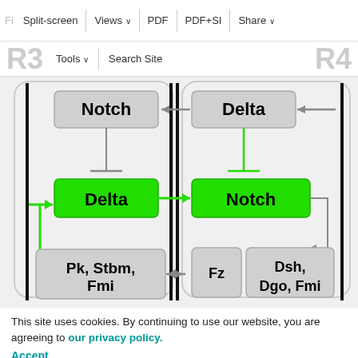Split-screen | Views | PDF | PDF+SI | Share
R3 | Tools | Search Site | R4
[Figure (flowchart): Biological signaling flowchart showing two cell panels (R3 and R4) divided by a vertical black line. Left panel (R3): 'Notch' (grey box) at top receives arrow from 'Delta' (grey box, R4). Below Notch, a T-bar inhibition arrow points down to 'Delta' (green box). A green arrow from left feeds into Delta, which sends an arrow right to 'Notch' (green box, R4). Bottom: 'Pk, Stbm, Fmi' (grey box) with double-headed arrow to 'Fz Dsh, Dgo, Fmi' (grey boxes, R4). Right panel (R4): 'Delta' (grey box) sends arrow left to 'Notch' (R3). 'Notch' (green box) has a T-bar inhibition arrow from 'Delta'. Grey arrow from Notch (R4) curves down to the 'Fz Dsh, Dgo, Fmi' boxes.]
This site uses cookies. By continuing to use our website, you are agreeing to our privacy policy.
Accept